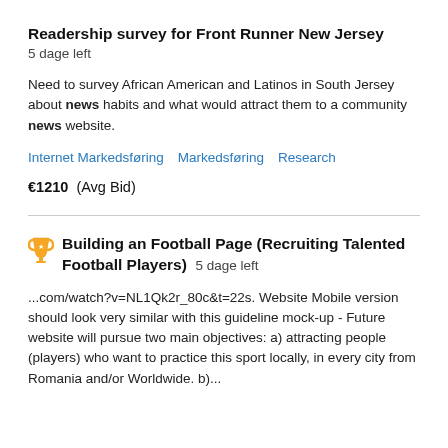Readership survey for Front Runner New Jersey
5 dage left
Need to survey African American and Latinos in South Jersey about news habits and what would attract them to a community news website.
Internet Markedsføring   Markedsføring   Research
€1210  (Avg Bid)
Building an Football Page (Recruiting Talented Football Players)  5 dage left
...com/watch?v=NL1Qk2r_80c&t=22s. Website Mobile version should look very similar with this guideline mock-up - Future website will pursue two main objectives: a) attracting people (players) who want to practice this sport locally, in every city from Romania and/or Worldwide. b)...